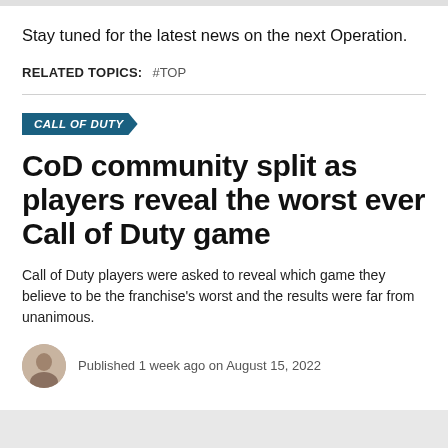Stay tuned for the latest news on the next Operation.
RELATED TOPICS:  #TOP
CALL OF DUTY
CoD community split as players reveal the worst ever Call of Duty game
Call of Duty players were asked to reveal which game they believe to be the franchise's worst and the results were far from unanimous.
Published 1 week ago on August 15, 2022